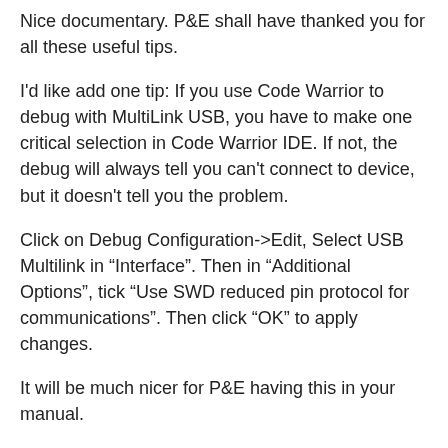Nice documentary. P&E shall have thanked you for all these useful tips.
I'd like add one tip: If you use Code Warrior to debug with MultiLink USB, you have to make one critical selection in Code Warrior IDE. If not, the debug will always tell you can't connect to device, but it doesn't tell you the problem.
Click on Debug Configuration->Edit, Select USB Multilink in “Interface”. Then in “Additional Options”, tick “Use SWD reduced pin protocol for communications”. Then click “OK” to apply changes.
It will be much nicer for P&E having this in your manual.